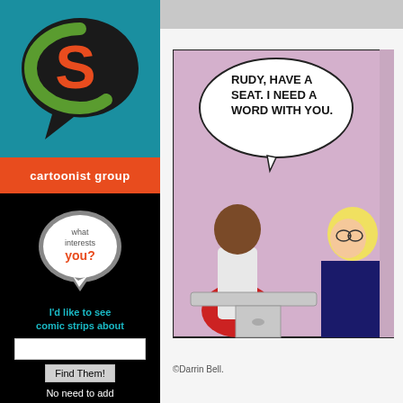[Figure (logo): Cartoonist Group logo: speech bubble with green C and red S letter on teal background]
cartoonist group
[Figure (illustration): Speech bubble graphic with text: 'what interests you?' in white and teal with red 'you?']
I'd like to see comic strips about
Find Them!
No need to add comic strips to your keywords!
[Figure (illustration): Comic strip panel showing a blonde man saying 'RUDY, HAVE A SEAT. I NEED A WORD WITH YOU.' to a person with brown hair, with a desk/office setting]
©Darrin Bell.